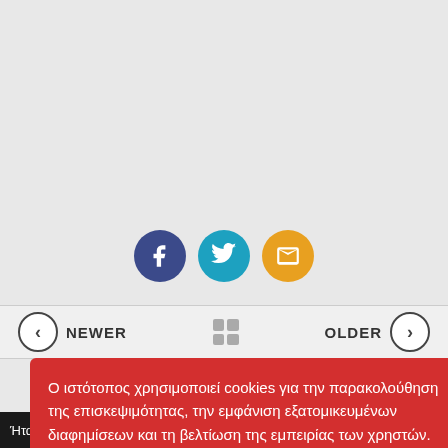[Figure (infographic): Three social sharing circular buttons: Facebook (dark blue with f icon), Twitter (cyan with bird icon), Email (orange with envelope icon)]
...
NEWER
OLDER
Ο ιστότοπος χρησιμοποιεί cookies για την παρακολούθηση της επισκεψιμότητας, την εμφάνιση εξατομικευμένων διαφημίσεων και τη βελτίωση της εμπειρίας των χρηστών. Διαβάστε περισσότερα στην Πολιτική Προστασίας
ΑΠΟΔΟΧΗ
ΑΠΟΡΡΙΨΗ
Ήταν Κυριακή 31 Μαΐου 1964 όταν ο Απόλλωνας Σερρών και η